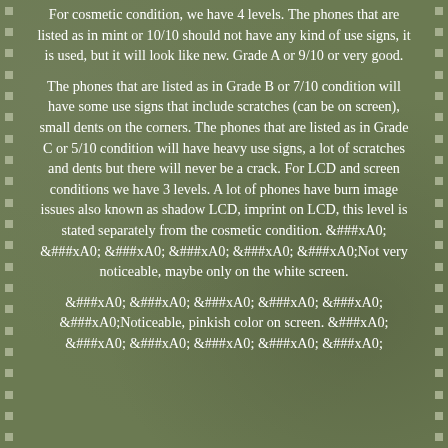For cosmetic condition, we have 4 levels. The phones that are listed as in mint or 10/10 should not have any kind of use signs, it is used, but it will look like new. Grade A or 9/10 or very good.
The phones that are listed as in Grade B or 7/10 condition will have some use signs that include scratches (can be on screen), small dents on the corners. The phones that are listed as in Grade C or 5/10 condition will have heavy use signs, a lot of scratches and dents but there will never be a crack. For LCD and screen conditions we have 3 levels. A lot of phones have burn image issues also known as shadow LCD, imprint on LCD, this level is stated separately from the cosmetic condition. &###xA0; &###xA0; &###xA0; &###xA0; &###xA0; &###xA0;Not very noticeable, maybe only on the white screen.
&###xA0; &###xA0; &###xA0; &###xA0; &###xA0; &###xA0;Noticeable, pinkish color on screen. &###xA0; &###xA0; &###xA0; &###xA0; &###xA0; &###xA0;